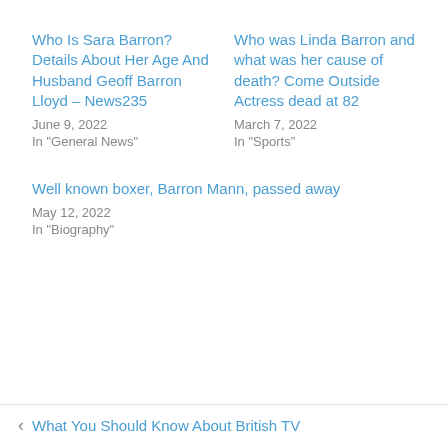Who Is Sara Barron? Details About Her Age And Husband Geoff Barron Lloyd – News235
June 9, 2022
In "General News"
Who was Linda Barron and what was her cause of death? Come Outside Actress dead at 82
March 7, 2022
In "Sports"
Well known boxer, Barron Mann, passed away
May 12, 2022
In "Biography"
‹ What You Should Know About British TV